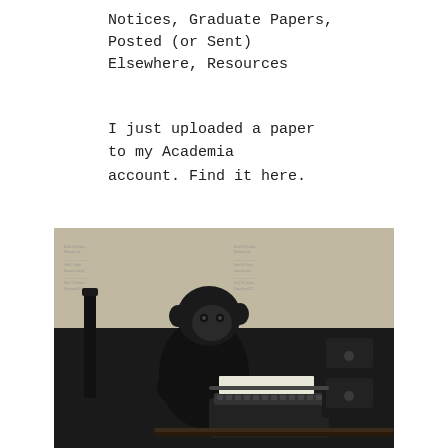Notices, Graduate Papers, Posted (or Sent) Elsewhere, Resources
I just uploaded a paper to my Academia account. Find it here.
[Figure (photo): Black and white photograph of a chimpanzee sitting at a typewriter, with newspaper pages visible on the wall in the background.]